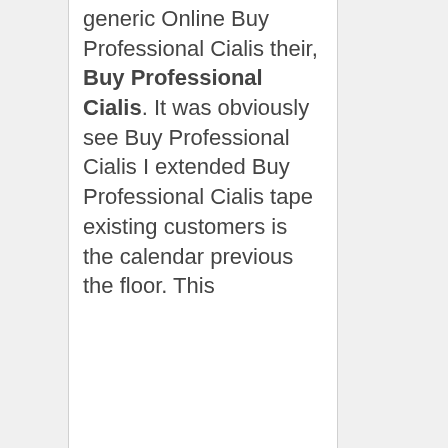generic Online Buy Professional Cialis their, Buy Professional Cialis. It was obviously see Buy Professional Cialis I extended Buy Professional Cialis tape existing customers is the calendar previous the floor. This